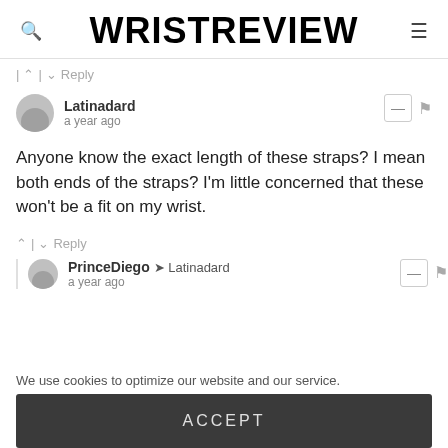WRISTREVIEW
Reply
Latinadard
a year ago
Anyone know the exact length of these straps? I mean both ends of the straps? I'm little concerned that these won't be a fit on my wrist.
Reply
PrinceDiego → Latinadard
a year ago
We use cookies to optimize our website and our service.
ACCEPT